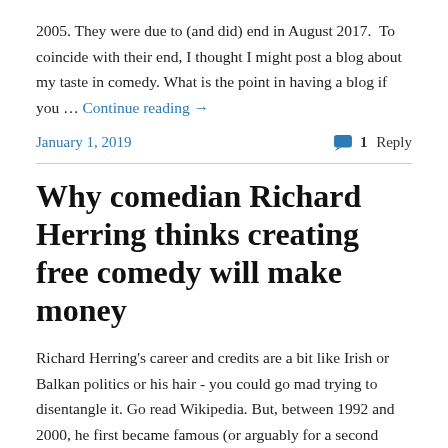2005. They were due to (and did) end in August 2017. To coincide with their end, I thought I might post a blog about my taste in comedy. What is the point in having a blog if you … Continue reading →
January 1, 2019
1 Reply
Why comedian Richard Herring thinks creating free comedy will make money
Richard Herring's career and credits are a bit like Irish or Balkan politics or his hair - you could go mad trying to disentangle it. Go read Wikipedia. But, between 1992 and 2000, he first became famous (or arguably for a second time, if you were a radio) a...